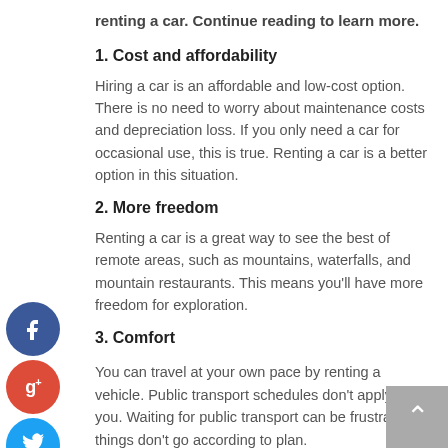renting a car. Continue reading to learn more.
1. Cost and affordability
Hiring a car is an affordable and low-cost option. There is no need to worry about maintenance costs and depreciation loss. If you only need a car for occasional use, this is true. Renting a car is a better option in this situation.
2. More freedom
Renting a car is a great way to see the best of remote areas, such as mountains, waterfalls, and mountain restaurants. This means you'll have more freedom for exploration.
3. Comfort
You can travel at your own pace by renting a vehicle. Public transport schedules don't apply to you. Waiting for public transport can be frustrating if things don't go according to plan.